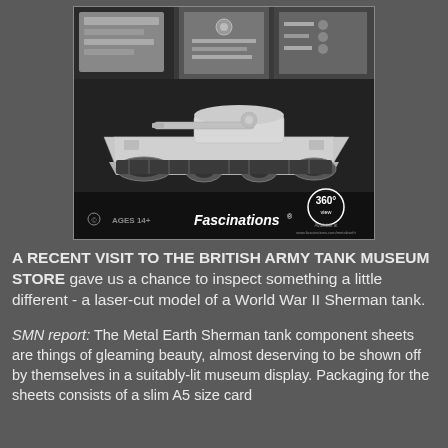[Figure (photo): Photo of a Fascinations Metal Earth laser-cut model of a World War II Sherman tank in silver/chrome finish, shown on dark packaging. The packaging shows 'AGES 14+', 'Fascinations' logo, and '360° view' badge. Above the tank box are visible metallic component sheets.]
A RECENT VISIT TO THE BRITISH ARMY TANK MUSEUM STORE gave us a chance to inspect something a little different - a laser-cut model of a World War II Sherman tank.
SMN report: The Metal Earth Sherman tank component sheets are things of gleaming beauty, almost deserving to be shown off by themselves in a suitably-lit museum display. Packaging for the sheets consists of a slim A5 size card